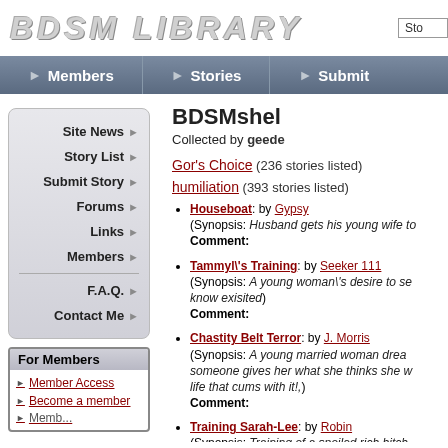BDSM LIBRARY
Members | Stories | Submit
BDSMshel
Collected by geede
Gor's Choice (236 stories listed)
humiliation (393 stories listed)
Houseboat: by Gypsy (Synopsis: Husband gets his young wife to Comment:
Tammyl's Training: by Seeker 111 (Synopsis: A young woman\'s desire to se know exisited) Comment:
Chastity Belt Terror: by J. Morris (Synopsis: A young married woman drea someone gives her what she thinks she w life that cums with it!,) Comment:
Training Sarah-Lee: by Robin (Synopsis: Training of a spoiled rich bitch
Site News
Story List
Submit Story
Forums
Links
Members
F.A.Q.
Contact Me
For Members
Member Access
Become a member